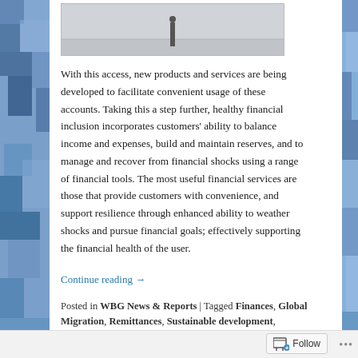[Figure (photo): Photo strip at top showing a person standing on a flat surface (likely a road or platform), partial view with grey background]
With this access, new products and services are being developed to facilitate convenient usage of these accounts. Taking this a step further, healthy financial inclusion incorporates customers' ability to balance income and expenses, build and maintain reserves, and to manage and recover from financial shocks using a range of financial tools. The most useful financial services are those that provide customers with convenience, and support resilience through enhanced ability to weather shocks and pursue financial goals; effectively supporting the financial health of the user.
Continue reading →
Posted in WBG News & Reports | Tagged Finances, Global Migration, Remittances, Sustainable development, Wereldbank Groep, World Bank Group